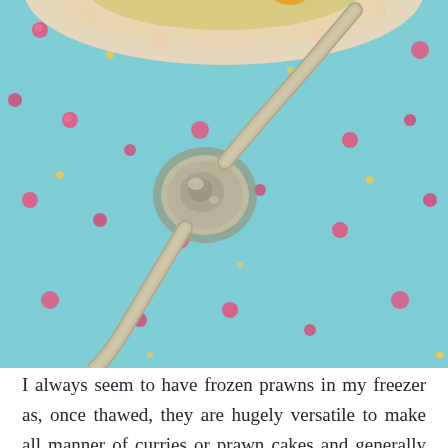[Figure (photo): Overhead photo of a decorative silver spoon resting on a blue floral fabric/tablecloth, with a bowl of pale soup and an orange piece (mango or prawn) visible at the top]
I always seem to have frozen prawns in my freezer as, once thawed, they are hugely versatile to make all manner of curries or prawn cakes and generally speaking I find that most people like prawns. I had some fresh mangoes and lemongrass that were needing to be eaten so I thought that I would work the recipe around my